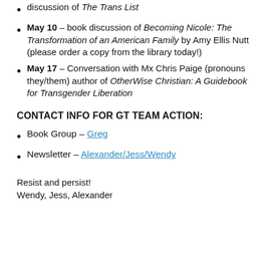discussion of The Trans List
May 10 – book discussion of Becoming Nicole: The Transformation of an American Family by Amy Ellis Nutt (please order a copy from the library today!)
May 17 – Conversation with Mx Chris Paige (pronouns they/them) author of OtherWise Christian: A Guidebook for Transgender Liberation
CONTACT INFO FOR GT TEAM ACTION:
Book Group – Greg
Newsletter – Alexander/Jess/Wendy
Resist and persist!
Wendy, Jess, Alexander